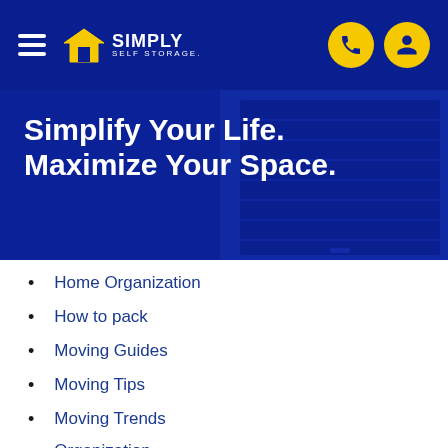Simply Self Storage — navigation header with hamburger menu, logo, phone icon, and account icon
Simplify Your Life. Maximize Your Space.
Home Organization
How to pack
Moving Guides
Moving Tips
Moving Trends
Organization
Packing/Unpacking